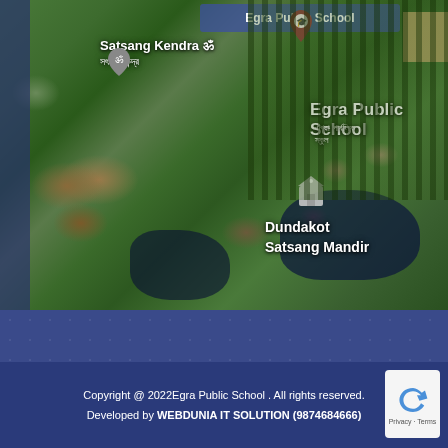[Figure (map): Aerial/satellite map showing Satsang Kendra, Egra Public School, Dundakot Satsang Mandir, and Rakesh payra locations with map pins]
Like us on Facebook
|
Copyright @ 2022Egra Public School . All rights reserved.
Developed by WEBDUNIA IT SOLUTION (9874684666)